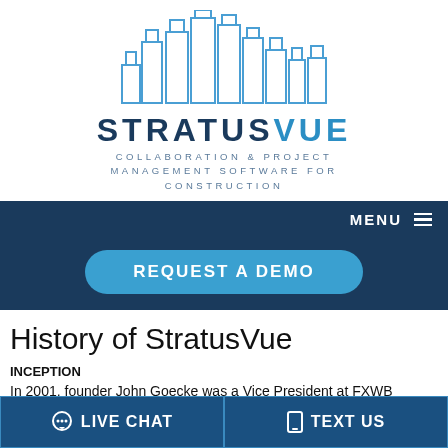[Figure (logo): StratusVue logo: stylized blue skyline of building outlines above the brand name STRATUSVUE with tagline COLLABORATION & PROJECT MANAGEMENT SOFTWARE FOR CONSTRUCTION]
History of StratusVue
INCEPTION
In 2001, founder John Goecke was a Vice President at FXWB
LIVE CHAT   TEXT US